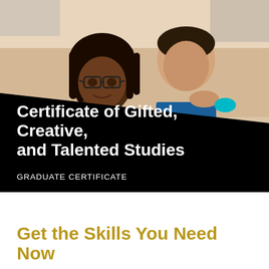[Figure (photo): Two students, a young Black woman with braids and glasses and a young man in a blue shirt, looking at something together in what appears to be a classroom or lab setting.]
Certificate of Gifted, Creative, and Talented Studies
GRADUATE CERTIFICATE
Get the Skills You Need Now